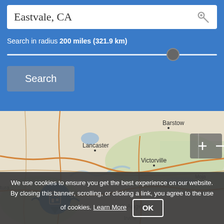Eastvale, CA
Search in radius 200 miles (321.9 km)
Search
[Figure (map): Map showing southern California region including Lancaster, Victorville, Barstow, Los Angeles, Irvine, Mojave National area with zoom +/- controls and a location marker icon]
We use cookies to ensure you get the best experience on our website. By closing this banner, scrolling, or clicking a link, you agree to the use of cookies. Learn More OK